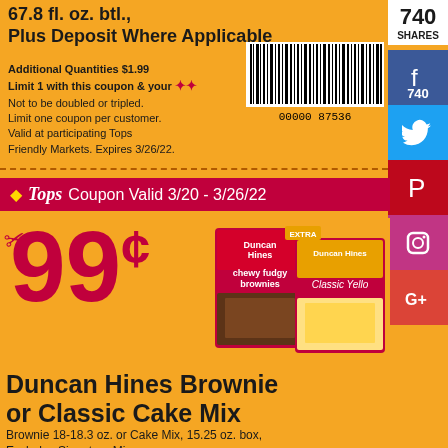67.8 fl. oz. btl., Plus Deposit Where Applicable
Additional Quantities $1.99
Limit 1 with this coupon & your [card logo]
Not to be doubled or tripled.
Limit one coupon per customer.
Valid at participating Tops Friendly Markets. Expires 3/26/22.
[Figure (other): Barcode with number 00000 87536]
740
SHARES
740
Tops Coupon Valid 3/20 - 3/26/22
99¢
[Figure (photo): Duncan Hines Chewy Fudge Brownies and Classic Yellow Cake Mix boxes with brownie and cake slices]
Duncan Hines Brownie or Classic Cake Mix
Brownie 18-18.3 oz. or Cake Mix, 15.25 oz. box, Excludes Signature Mixes